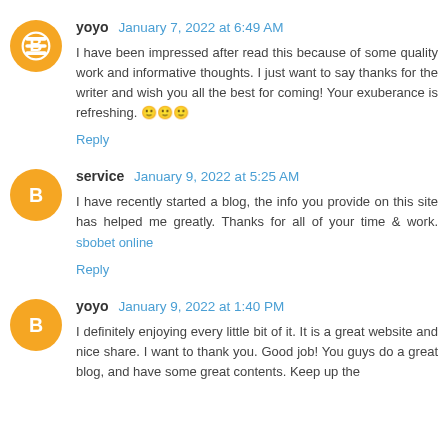yoyo January 7, 2022 at 6:49 AM
I have been impressed after read this because of some quality work and informative thoughts. I just want to say thanks for the writer and wish you all the best for coming! Your exuberance is refreshing. 🙂🙂🙂
Reply
service January 9, 2022 at 5:25 AM
I have recently started a blog, the info you provide on this site has helped me greatly. Thanks for all of your time & work. sbobet online
Reply
yoyo January 9, 2022 at 1:40 PM
I definitely enjoying every little bit of it. It is a great website and nice share. I want to thank you. Good job! You guys do a great blog, and have some great contents. Keep up the